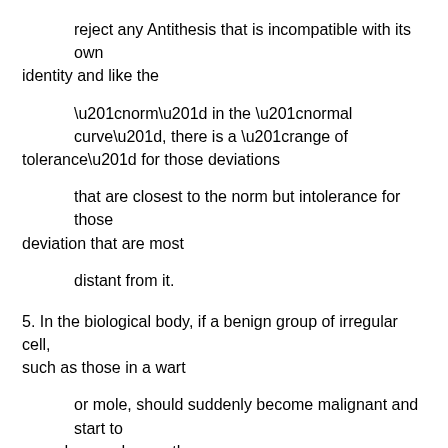reject any Antithesis that is incompatible with its own identity and like the
“norm” in the “normal curve”, there is a “range of tolerance” for those deviations
that are closest to the norm but intolerance for those deviation that are most
distant from it.
5. In the biological body, if a benign group of irregular cell, such as those in a wart
or mole, should suddenly become malignant and start to reproduce and grow, the
life of the body will be threatened as cancerous cells spreads and starts to destroy